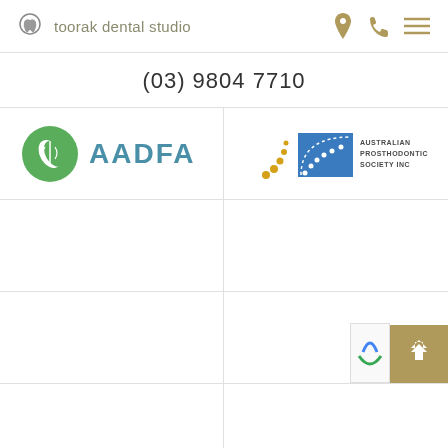toorak dental studio
(03) 9804 7710
[Figure (logo): AADFA logo — green circular leaf icon with text 'AADFA' in teal]
[Figure (logo): Australian Prosthodontic Society Inc logo — blue square with white dotted arc and gold dots, text reads 'AUSTRALIAN PROSTHODONTIC SOCIETY INC']